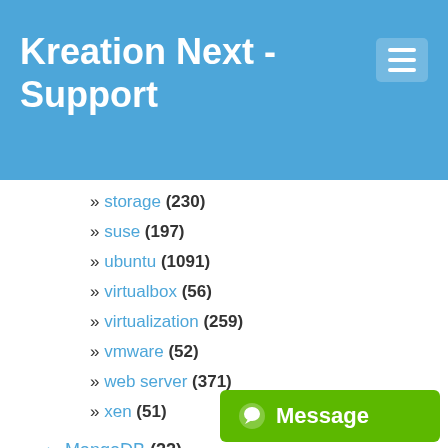Kreation Next - Support
» storage (230)
» suse (197)
» ubuntu (1091)
» virtualbox (56)
» virtualization (259)
» vmware (52)
» web server (371)
» xen (51)
► MongoDB (22)
► MySQL (44)